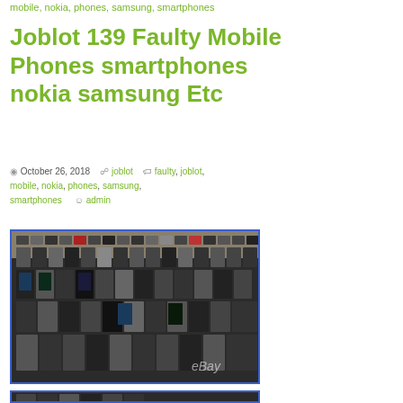mobile, nokia, phones, samsung, smartphones
Joblot 139 Faulty Mobile Phones smartphones nokia samsung Etc
October 26, 2018  joblot  faulty, joblot, mobile, nokia, phones, samsung, smartphones  admin
[Figure (photo): Large pile of 139 faulty mobile phones and smartphones spread out on a surface, showing various Nokia, Samsung and other brand devices. eBay watermark visible at bottom right.]
[Figure (photo): Second photo showing more faulty mobile phones, partially visible at bottom of page.]